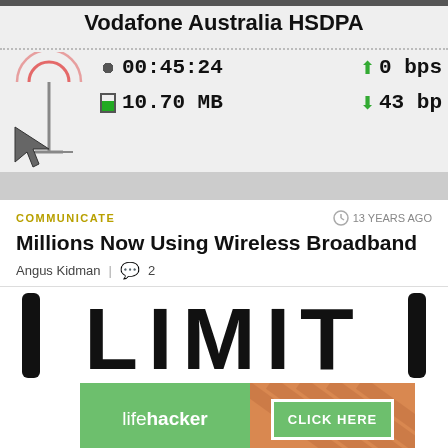[Figure (screenshot): Vodafone Australia HSDPA network monitor screenshot showing time 00:45:24, data 10.70 MB, upload speed 0 bps, download speed 43 bps]
COMMUNICATE
13 YEARS AGO
Millions Now Using Wireless Broadband
Angus Kidman  |  2
[Figure (photo): Partial image showing large bold text 'LIMIT' with vertical black bars on sides, and a Lifehacker advertisement banner at the bottom with 'CLICK HERE' button]